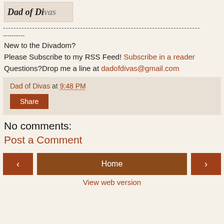[Figure (illustration): Partial image of a book or logo at the top left, showing cursive/handwritten text partially visible]
--------------------------------------------------------------------------
----------
New to the Divadom?
Please Subscribe to my RSS Feed! Subscribe in a reader
Questions?Drop me a line at dadofdivas@gmail.com
Dad of Divas at 9:48 PM
Share
No comments:
Post a Comment
< Home > View web version